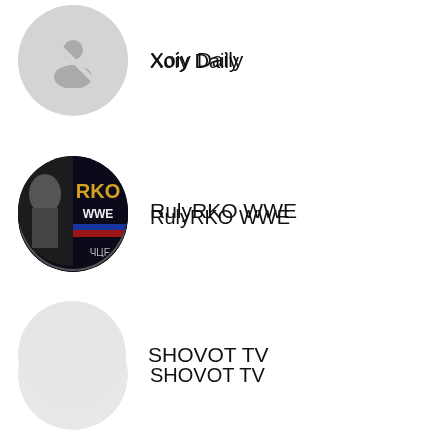Xoiy Daily
RulyRKO WWE
SHOVOT TV
Beso Mikava
🔲🔲🔲🔲🔲🔲🔲🔲🔲🔲Korea
HarriB